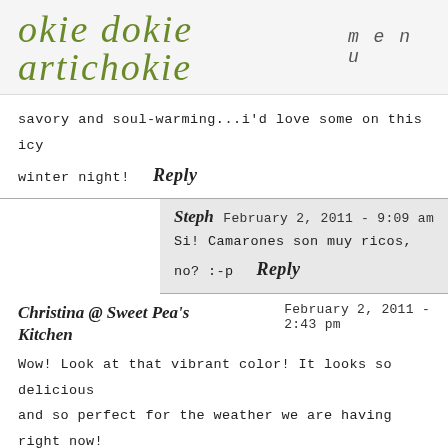okie dokie artichokie  menu
savory and soul-warming...i'd love some on this icy winter night!  Reply
Steph  February 2, 2011 - 9:09 am
Si! Camarones son muy ricos, no? :-p  Reply
Christina @ Sweet Pea's Kitchen  February 2, 2011 - 2:43 pm
Wow! Look at that vibrant color! It looks so delicious and so perfect for the weather we are having right now! I am bookmarking this one, too bad I can't make it tonight-we are stuck in the house because of the